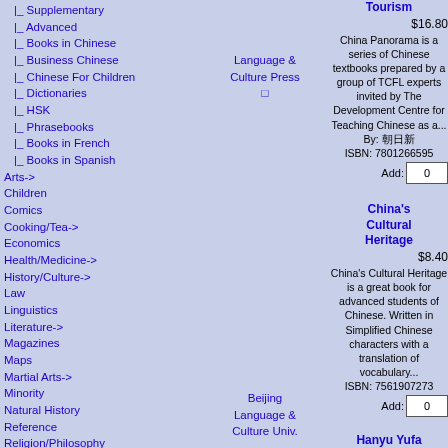|_ Supplementary
|_ Advanced
|_ Books in Chinese
|_ Business Chinese
|_ Chinese For Children
|_ Dictionaries
|_ HSK
|_ Phrasebooks
|_ Books in French
|_ Books in Spanish
Arts->
Children
Comics
Cooking/Tea->
Economics
Health/Medicine->
History/Culture->
Law
Linguistics
Literature->
Magazines
Maps
Martial Arts->
Minority
Natural History
Reference
Religion/Philosophy
Southeast Asia
Tibet->
Travel->
Antiquarian
Livres en langue française
Featured Titles ...
All Titles ...
Language & Culture Press
Tourism
$16.80
China Panorama is a series of Chinese textbooks prepared by a group of TCFL experts invited by The Development Centre for Teaching Chinese as a...
By: 朝日新
ISBN: 7801266595
Add: 0
Beijing Language & Culture Univ.
China's Cultural Heritage
$8.40
China's Cultural Heritage is a great book for advanced students of Chinese. Written in Simplified Chinese characters with a translation of vocabulary...
ISBN: 7561907273
Add: 0
Beijing Language & Culture Univ.
Hanyu Yufa Jiaocheng (Chinese Grammar Course)
$9.60
Edited by Sun Dejin. Han Yu Yu Fa Jiao Cheng is a detailed course in grammar
Add: 0